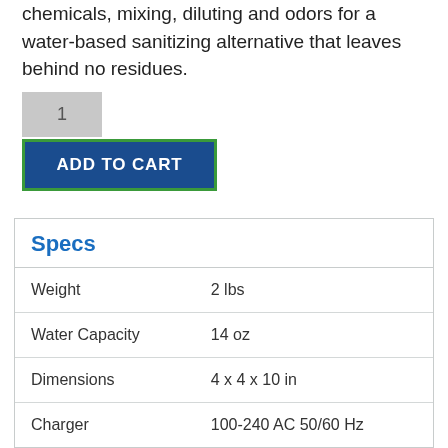chemicals, mixing, diluting and odors for a water-based sanitizing alternative that leaves behind no residues.
[Figure (other): Quantity selector box showing '1' and an Add to Cart button]
| Spec | Value |
| --- | --- |
| Weight | 2 lbs |
| Water Capacity | 14 oz |
| Dimensions | 4 x 4 x 10 in |
| Charger | 100-240 AC 50/60 Hz |